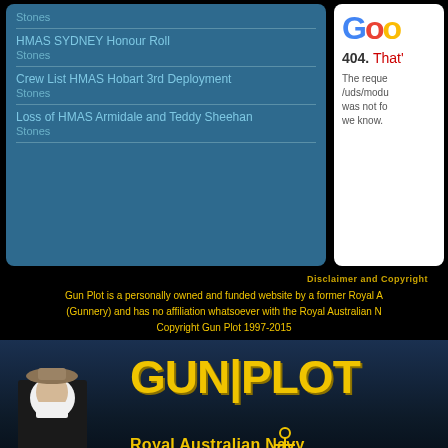Stones
HMAS SYDNEY Honour Roll
Stones
Crew List HMAS Hobart 3rd Deployment
Stones
Loss of HMAS Armidale and Teddy Sheehan
Stones
404. That's an error.
The requested URL /uds/modu... was not fo... we know.
Disclaimer and Copyright
Gun Plot is a personally owned and funded website by a former Royal A... (Gunnery) and has no affiliation whatsoever with the Royal Australian N... Copyright Gun Plot 1997-2015
[Figure (logo): Gun Plot Royal Australian Navy website banner with nun figure on left and GUNPLOT text on right with anchor icon]